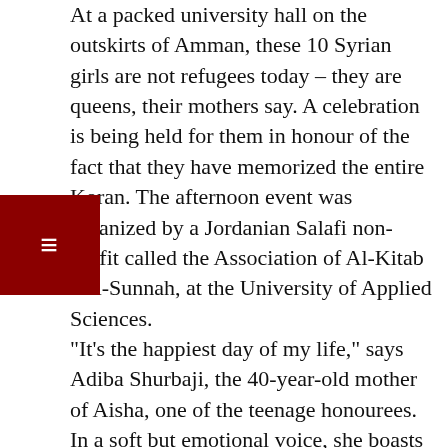At a packed university hall on the outskirts of Amman, these 10 Syrian girls are not refugees today – they are queens, their mothers say. A celebration is being held for them in honour of the fact that they have memorized the entire Koran. The afternoon event was organized by a Jordanian Salafi non-profit called the Association of Al-Kitab wal-Sunnah, at the University of Applied Sciences. “It’s the happiest day of my life,” says Adiba Shurbaji, the 40-year-old mother of Aisha, one of the teenage honourees. In a soft but emotional voice, she boasts that while it took her six years to memorize the Koran because she was virtually illiterate, "My daughter memorized it in six months, in which time she has experienced more